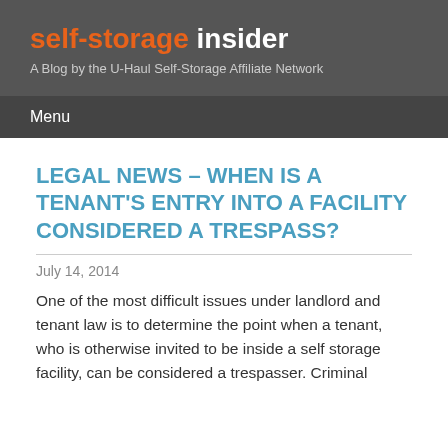self-storage insider — A Blog by the U-Haul Self-Storage Affiliate Network
LEGAL NEWS – WHEN IS A TENANT'S ENTRY INTO A FACILITY CONSIDERED A TRESPASS?
July 14, 2014
One of the most difficult issues under landlord and tenant law is to determine the point when a tenant, who is otherwise invited to be inside a self storage facility, can be considered a trespasser. Criminal